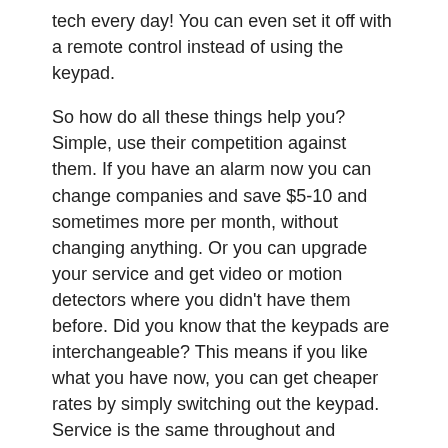tech every day! You can even set it off with a remote control instead of using the keypad.
So how do all these things help you? Simple, use their competition against them. If you have an alarm now you can change companies and save $5-10 and sometimes more per month, without changing anything. Or you can upgrade your service and get video or motion detectors where you didn't have them before. Did you know that the keypads are interchangeable? This means if you like what you have now, you can get cheaper rates by simply switching out the keypad. Service is the same throughout and sometimes even go to the same call centers, the only difference you will see is a lower bill. Why? Because these other companies want your next contract.
We found out when we lowered our bill by $10 per month. I like having an extra $120 and my husband likes that I have a panic button that I can use if there is ever a problem where help will be called immediately.